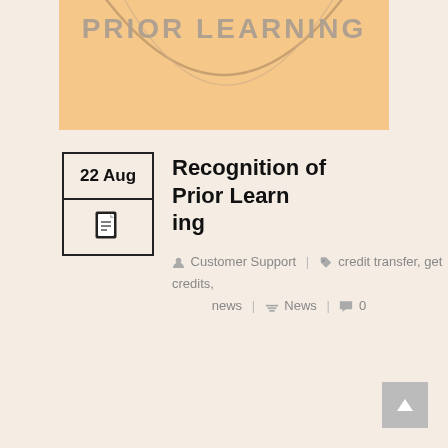[Figure (illustration): Partial banner image with text 'PRIOR LEARNING' on a peach/orange background with curved line shapes, cropped at top of page]
22 Aug
[Figure (other): Document icon inside a bordered date box]
Recognition of Prior Learning
Customer Support | credit transfer, get credits, news | News | 0